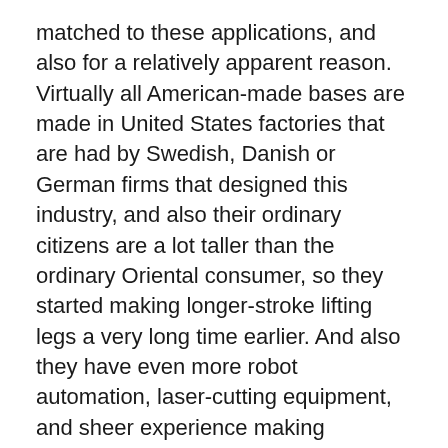matched to these applications, and also for a relatively apparent reason. Virtually all American-made bases are made in United States factories that are had by Swedish, Danish or German firms that designed this industry, and also their ordinary citizens are a lot taller than the ordinary Oriental consumer, so they started making longer-stroke lifting legs a very long time earlier. And also they have even more robot automation, laser-cutting equipment, and sheer experience making standing workdesk bases, needless to say.
However if you’re not too high, do not have an excessive quantity of heavy devices on your desktop computer, as well as do not need also wide of a workdesk, the StandDesk: